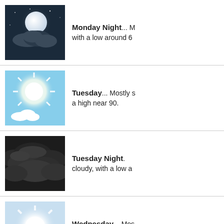[Figure (illustration): Moon behind clouds at night - dark blue sky]
Monday Night... M... with a low around 6
[Figure (illustration): Bright sun with small cloud - mostly sunny blue sky]
Tuesday... Mostly s... a high near 90.
[Figure (illustration): Dark storm clouds - overcast night sky]
Tuesday Night... cloudy, with a low a...
[Figure (illustration): Bright sun with haze - sunny sky]
Wednesday... Mos... with a high near 89.